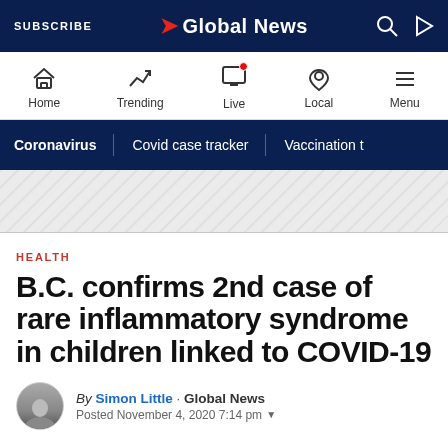SUBSCRIBE | Global News
[Figure (screenshot): Global News website navigation bar with Home, Trending, Live, Local, Menu icons]
[Figure (screenshot): Secondary navigation bar with Coronavirus, Covid case tracker, Vaccination tracker links]
[Figure (infographic): Gray diagonal striped banner/advertisement area]
HEALTH
B.C. confirms 2nd case of rare inflammatory syndrome in children linked to COVID-19
By Simon Little · Global News
Posted November 4, 2020 7:14 pm